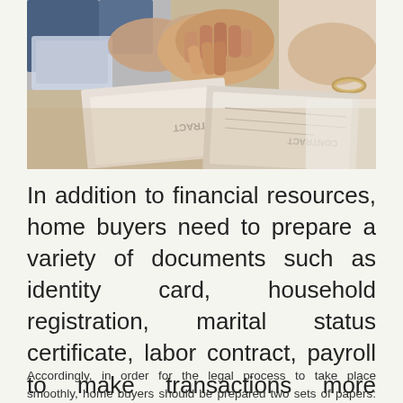[Figure (photo): Two people shaking hands over a desk with contract documents. One person wearing a blue suit, the other wearing white with a bracelet. Papers labeled CONTRACT are visible on the table.]
In addition to financial resources, home buyers need to prepare a variety of documents such as identity card, household registration, marital status certificate, labor contract, payroll to make transactions more smoothly.
Accordingly, in order for the legal process to take place smoothly, home buyers should be prepared two sets of papers: the required